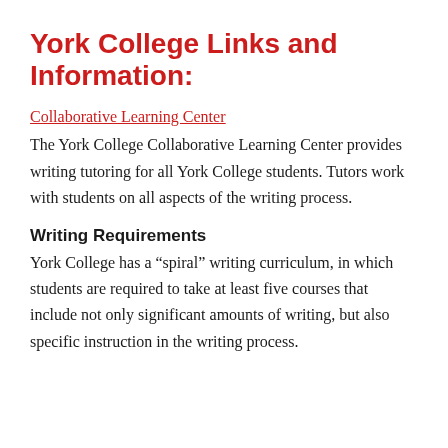York College Links and Information:
Collaborative Learning Center
The York College Collaborative Learning Center provides writing tutoring for all York College students. Tutors work with students on all aspects of the writing process.
Writing Requirements
York College has a “spiral” writing curriculum, in which students are required to take at least five courses that include not only significant amounts of writing, but also specific instruction in the writing process.